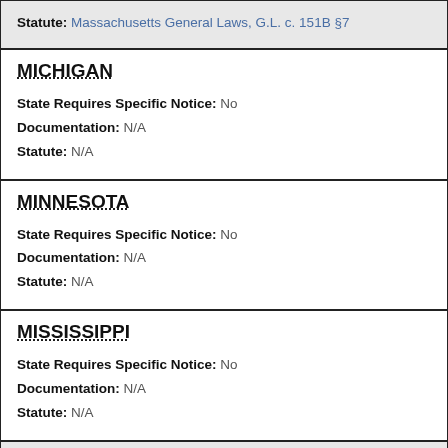Statute: Massachusetts General Laws, G.L. c. 151B §7
MICHIGAN
State Requires Specific Notice: No
Documentation: N/A
Statute: N/A
MINNESOTA
State Requires Specific Notice: No
Documentation: N/A
Statute: N/A
MISSISSIPPI
State Requires Specific Notice: No
Documentation: N/A
Statute: N/A
MISSOURI